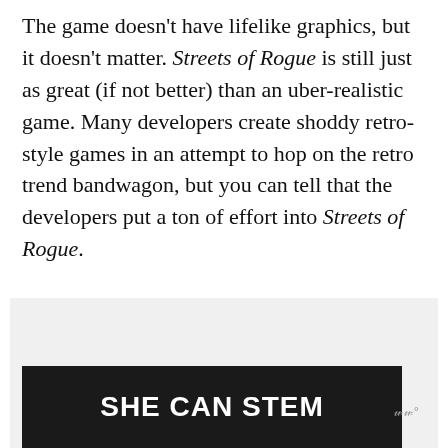The game doesn't have lifelike graphics, but it doesn't matter. Streets of Rogue is still just as great (if not better) than an uber-realistic game. Many developers create shoddy retro-style games in an attempt to hop on the retro trend bandwagon, but you can tell that the developers put a ton of effort into Streets of Rogue.
[Figure (screenshot): Advertisement banner with dark background showing 'SHE CAN STEM' text in bold white letters, with a small logo to the right]